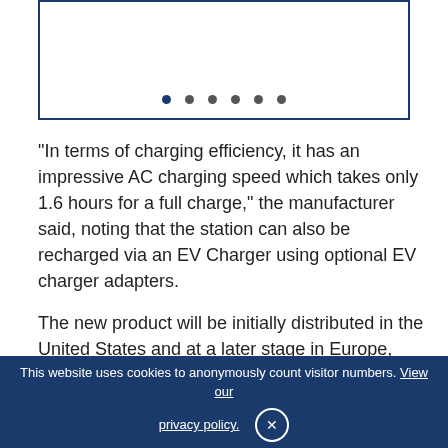[Figure (other): Image carousel with navigation dots, showing 6 dots with the first dot active (filled dark blue), rest gray. Bordered box with dark blue border.]
“In terms of charging efficiency, it has an impressive AC charging speed which takes only 1.6 hours for a full charge,” the manufacturer said, noting that the station can also be recharged via an EV Charger using optional EV charger adapters.
The new product will be initially distributed in the United States and at a later stage in Europe, Asia Pacific, and other markets.
*The article was updated on March 28 to reflect that the size of the power station is
This website uses cookies to anonymously count visitor numbers. View our privacy policy.  ×